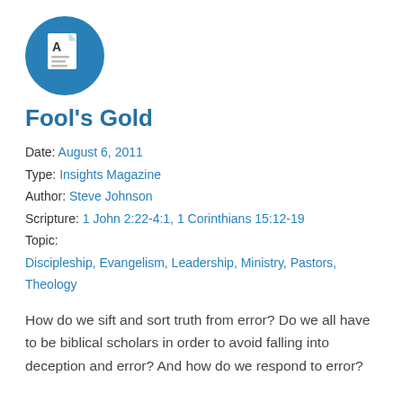[Figure (logo): Blue circular icon with a document/article symbol showing 'A' and text lines]
Fool's Gold
Date: August 6, 2011
Type: Insights Magazine
Author: Steve Johnson
Scripture: 1 John 2:22-4:1, 1 Corinthians 15:12-19
Topic:
Discipleship, Evangelism, Leadership, Ministry, Pastors, Theology
How do we sift and sort truth from error? Do we all have to be biblical scholars in order to avoid falling into deception and error? And how do we respond to error?